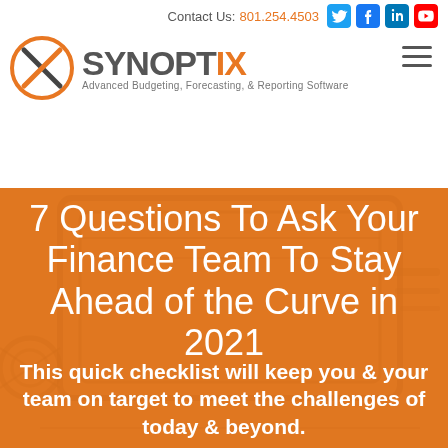Contact Us: 801.254.4503
[Figure (logo): Synoptix logo: orange circle with X, bold SYNOPTIX wordmark in gray/orange, tagline 'Advanced Budgeting, Forecasting, & Reporting Software']
7 Questions To Ask Your Finance Team To Stay Ahead of the Curve in 2021
This quick checklist will keep you & your team on target to meet the challenges of today & beyond.